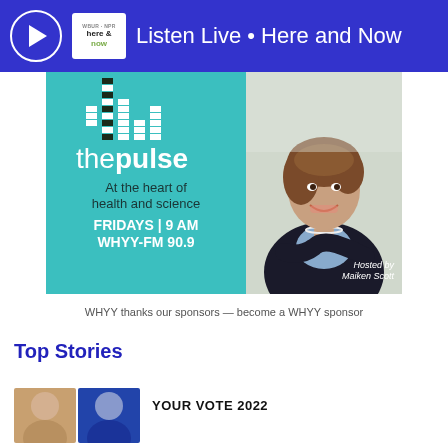Listen Live • Here and Now
[Figure (infographic): The Pulse radio show banner — teal background with equalizer bars logo, text 'thepulse At the heart of health and science FRIDAYS | 9 AM WHYY-FM 90.9', photo of host Maiken Scott, 'Hosted by Maiken Scott' caption]
WHYY thanks our sponsors — become a WHYY sponsor
Top Stories
YOUR VOTE 2022